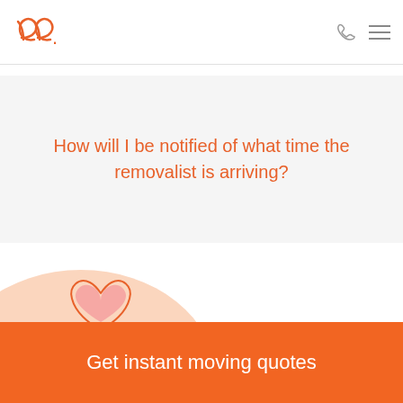Logo | Phone | Menu
How will I be notified of what time the removalist is arriving?
[Figure (illustration): Decorative peach blob background with an orange heart illustration outline on the left side]
Get instant moving quotes